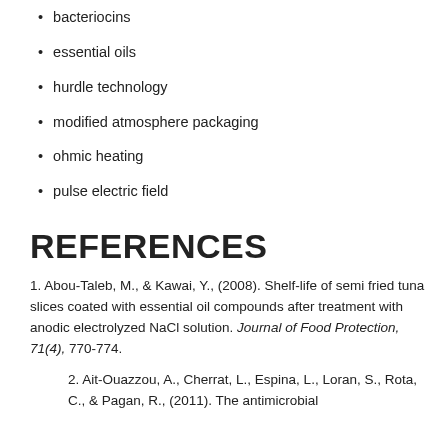bacteriocins
essential oils
hurdle technology
modified atmosphere packaging
ohmic heating
pulse electric field
REFERENCES
1. Abou-Taleb, M., & Kawai, Y., (2008). Shelf-life of semi fried tuna slices coated with essential oil compounds after treatment with anodic electrolyzed NaCl solution. Journal of Food Protection, 71(4), 770-774.
2. Ait-Ouazzou, A., Cherrat, L., Espina, L., Loran, S., Rota, C., & Pagan, R., (2011). The antimicrobial